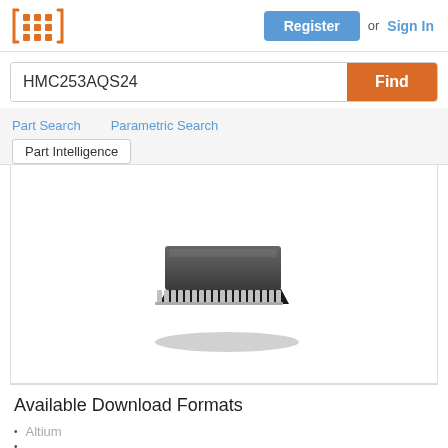[Figure (logo): Orange grid/mesh logo icon (3x3 dots in orange brackets)]
Register or Sign In
HMC253AQS24
Find
Part Search
Parametric Search
Part Intelligence
[Figure (photo): 3D rendering of an IC chip package (QSOP/SSOP 24-pin black IC with gull-wing leads visible on bottom edge)]
Available Download Formats
Altium